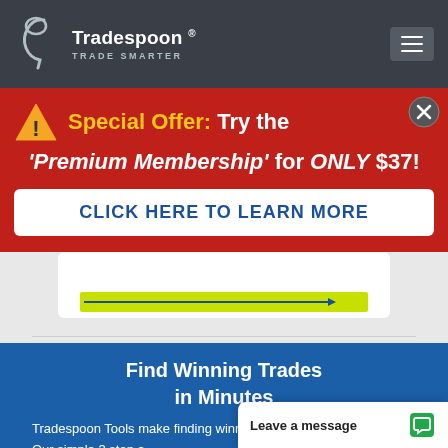Tradespoon® TRADE SMARTER
[Figure (screenshot): Tradespoon website screenshot showing a special offer popup banner on red background with warning triangle icon, 'Special Offer: Try the Premium Membership for ONLY $37!' text and 'CLICK HERE TO LEARN MORE' button, followed by a blue website section with 'Find Winning Trades in Minutes' heading and body text about Tradespoon Tools.]
Special Offer: Try the 'Premium Membership' for ONLY $37!
CLICK HERE TO LEARN MORE
Find Winning Trades in Minutes
Tradespoon Tools make finding winning trades in minute as easy as 1
Our simple 3 step a...
Leave a message